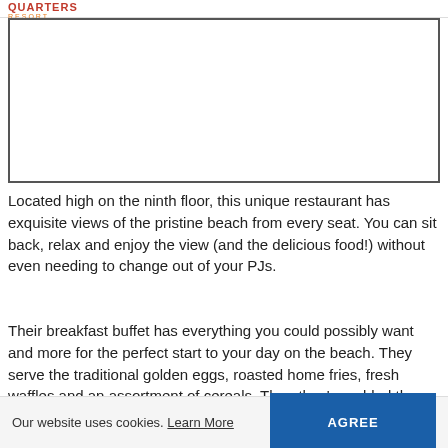QUARTERS RESORT
[Figure (photo): Large image placeholder with border, white interior, representing a restaurant or resort view]
Located high on the ninth floor, this unique restaurant has exquisite views of the pristine beach from every seat. You can sit back, relax and enjoy the view (and the delicious food!) without even needing to change out of your PJs.
Their breakfast buffet has everything you could possibly want and more for the perfect start to your day on the beach. They serve the traditional golden eggs, roasted home fries, fresh waffles and an assortment of cereals. Then they've added the comfort of southern home cooking with biscuits in sausage gravy, warm grits and fresh
Our website uses cookies. Learn More   AGREE